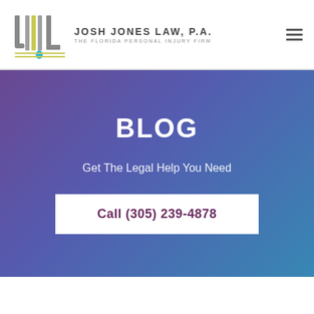[Figure (logo): Josh Jones Law, P.A. logo with stylized J and L columns motif]
JOSH JONES LAW, P.A.
THE FLORIDA PERSONAL INJURY FIRM
BLOG
Get The Legal Help You Need
Call (305) 239-4878